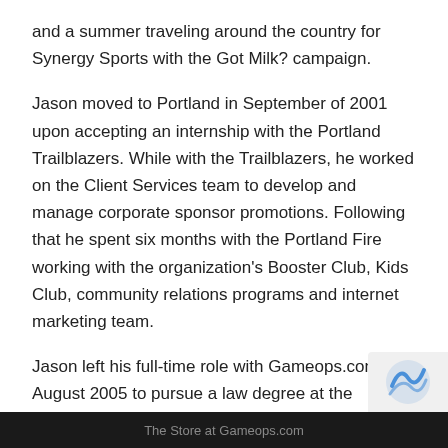and a summer traveling around the country for Synergy Sports with the Got Milk? campaign.
Jason moved to Portland in September of 2001 upon accepting an internship with the Portland Trailblazers. While with the Trailblazers, he worked on the Client Services team to develop and manage corporate sponsor promotions. Following that he spent six months with the Portland Fire working with the organization's Booster Club, Kids Club, community relations programs and internet marketing team.
Jason left his full-time role with Gameops.com in August 2005 to pursue a law degree at the University of Montana. Jason remains an underpaid business consultant for N
The Store at Gameops.com